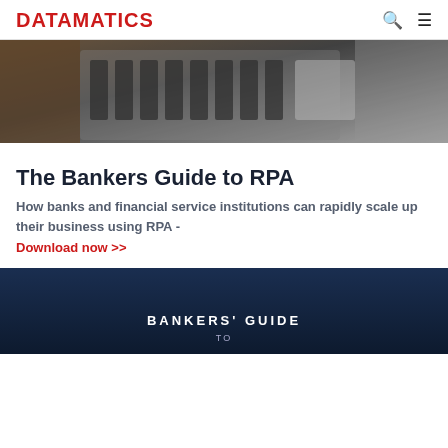DATAMATICS
[Figure (photo): Blurred close-up photo of a laptop keyboard from above, dark tones]
The Bankers Guide to RPA
How banks and financial service institutions can rapidly scale up their business using RPA -
Download now >>
[Figure (photo): Dark navy blue background with white bold text reading BANKERS' GUIDE TO]